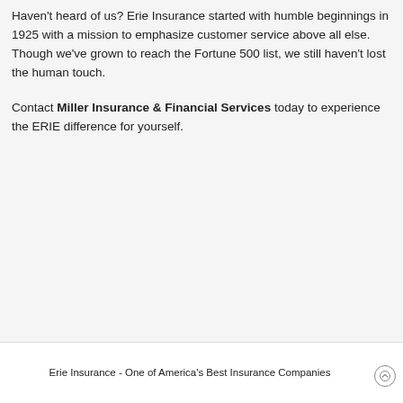Haven't heard of us? Erie Insurance started with humble beginnings in 1925 with a mission to emphasize customer service above all else. Though we've grown to reach the Fortune 500 list, we still haven't lost the human touch.
Contact Miller Insurance & Financial Services today to experience the ERIE difference for yourself.
Erie Insurance - One of America's Best Insurance Companies